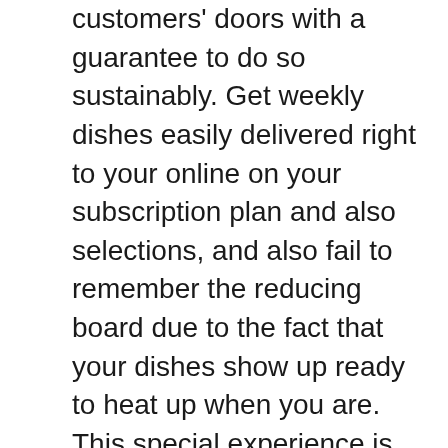customers' doors with a guarantee to do so sustainably. Get weekly dishes easily delivered right to your online on your subscription plan and also selections, and also fail to remember the reducing board due to the fact that your dishes show up ready to heat up when you are. This special experience is brought to you by CEO as well as founder Mateo Marietti, that began CookUnity in 2015 with head chef Lucia Cisilotto. The firm has an ongoing partnership with as well as contribution to the Food Bank of New York City, to deal with as well as improve the food insecurity of households throughout the five districts.
CookUnity prides itself on its objective to provide a high criterion of delicious and also